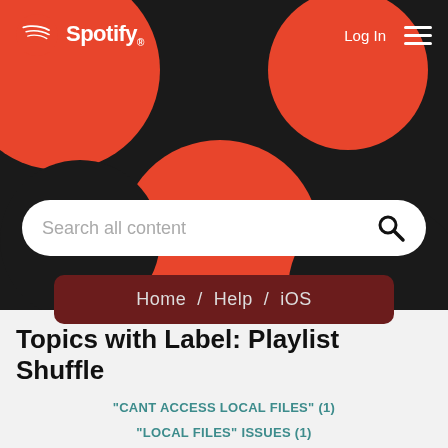[Figure (screenshot): Spotify website header with dark background, red decorative circles, Spotify logo top-left, Log In and hamburger menu top-right, search bar in the middle, and breadcrumb navigation showing Home / Help / iOS]
Topics with Label: Playlist Shuffle
"CANT ACCESS LOCAL FILES" (1)
"LOCAL FILES" ISSUES (1)
"SONG OPTION" NOT WORKING ON IPHONE 6S PLUS (1)
(iOS) (1)